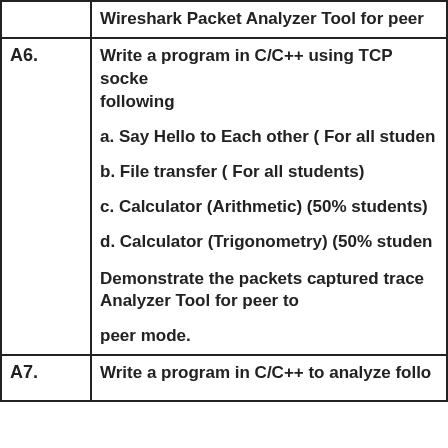|  | Wireshark Packet Analyzer Tool for peer ... |
| A6. | Write a program in C/C++ using TCP sockets following

a. Say Hello to Each other ( For all students

b. File transfer ( For all students)

c. Calculator (Arithmetic) (50% students)

d. Calculator (Trigonometry) (50% students)

Demonstrate the packets captured trace Analyzer Tool for peer to

peer mode. |
| A7. | Write a program in C/C++ to analyze follo... |